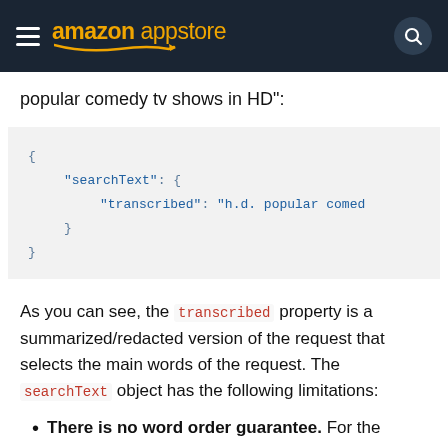amazon appstore
popular comedy tv shows in HD":
{
    "searchText": {
        "transcribed": "h.d. popular comed
    }
}
As you can see, the transcribed property is a summarized/redacted version of the request that selects the main words of the request. The searchText object has the following limitations:
There is no word order guarantee. For the